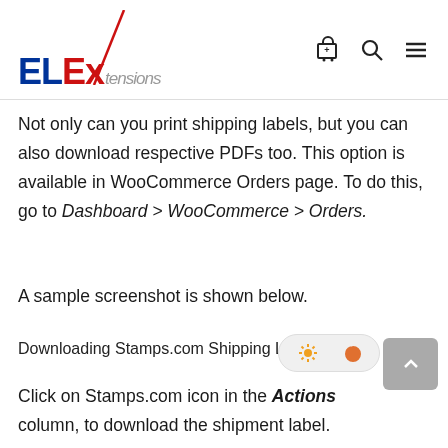[Figure (logo): ELExtensions logo with blue EL, red Ex, italic tensions text, and a red diagonal slash mark]
[Figure (other): Navigation icons: shopping cart, search magnifier, hamburger menu]
Not only can you print shipping labels, but you can also download respective PDFs too. This option is available in WooCommerce Orders page. To do this, go to Dashboard > WooCommerce > Orders.
A sample screenshot is shown below.
Downloading Stamps.com Shipping Label
Click on Stamps.com icon in the Actions column, to download the shipment label.